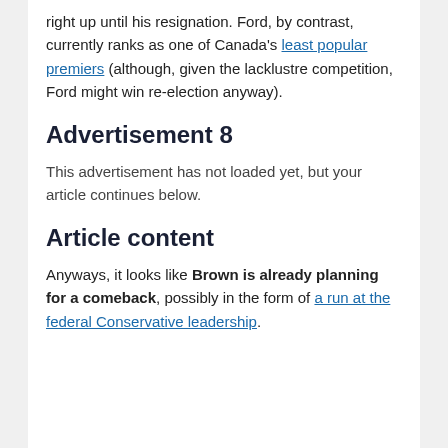right up until his resignation. Ford, by contrast, currently ranks as one of Canada's least popular premiers (although, given the lacklustre competition, Ford might win re-election anyway).
Advertisement 8
This advertisement has not loaded yet, but your article continues below.
Article content
Anyways, it looks like Brown is already planning for a comeback, possibly in the form of a run at the federal Conservative leadership.